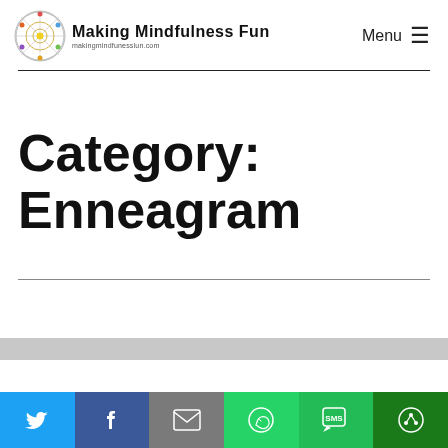Making Mindfulness Fun — makingmindfunesslun.com — Menu
Category: Enneagram
[Figure (logo): Making Mindfulness Fun logo with geometric sacred geometry circle icon and handwritten-style text]